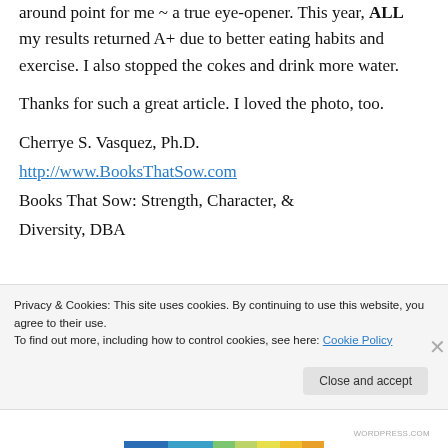around point for me ~ a true eye-opener. This year, ALL my results returned A+ due to better eating habits and exercise. I also stopped the cokes and drink more water.
Thanks for such a great article. I loved the photo, too.
Cherrye S. Vasquez, Ph.D.
http://www.BooksThatSow.com
Books That Sow: Strength, Character, & Diversity, DBA
Privacy & Cookies: This site uses cookies. By continuing to use this website, you agree to their use.
To find out more, including how to control cookies, see here: Cookie Policy
Close and accept